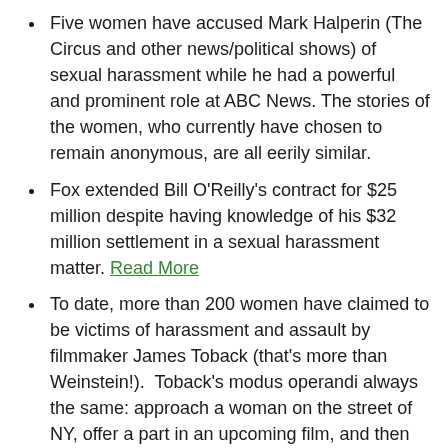Five women have accused Mark Halperin (The Circus and other news/political shows) of sexual harassment while he had a powerful and prominent role at ABC News. The stories of the women, who currently have chosen to remain anonymous, are all eerily similar.
Fox extended Bill O'Reilly's contract for $25 million despite having knowledge of his $32 million settlement in a sexual harassment matter. Read More
To date, more than 200 women have claimed to be victims of harassment and assault by filmmaker James Toback (that's more than Weinstein!).  Toback's modus operandi always the same: approach a woman on the street of NY, offer a part in an upcoming film, and then bring on the unwanted sexual comments and behavior, with the interaction often ending in him masturbtaing or dry humping them. Nice.
Dozens of sex tapes exist in which Mel B appears may come into evidence at the upcoming trial. Mel B claims that she was drugged in many of the videos and that the sex was